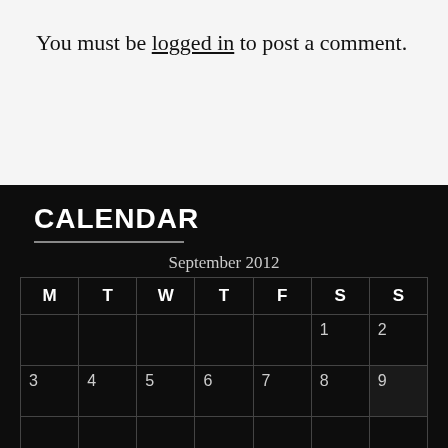You must be logged in to post a comment.
CALENDAR
| M | T | W | T | F | S | S |
| --- | --- | --- | --- | --- | --- | --- |
|  |  |  |  |  | 1 | 2 |
| 3 | 4 | 5 | 6 | 7 | 8 | 9 |
|  |  |  |  |  |  |  |